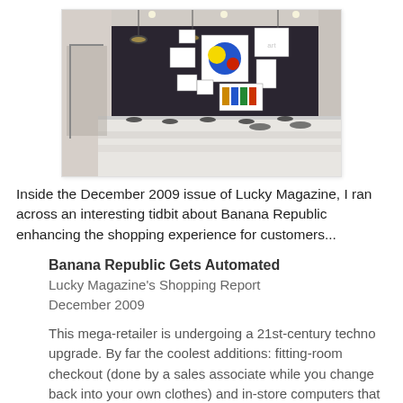[Figure (photo): Interior of a Banana Republic store showing a dark accent wall with framed artwork, pendant lights, and a white checkout counter with multiple display pads.]
Inside the December 2009 issue of Lucky Magazine, I ran across an interesting tidbit about Banana Republic enhancing the shopping experience for customers...
Banana Republic Gets Automated
Lucky Magazine's Shopping Report
December 2009
This mega-retailer is undergoing a 21st-century techno upgrade. By far the coolest additions: fitting-room checkout (done by a sales associate while you change back into your own clothes) and in-store computers that track sold-out items